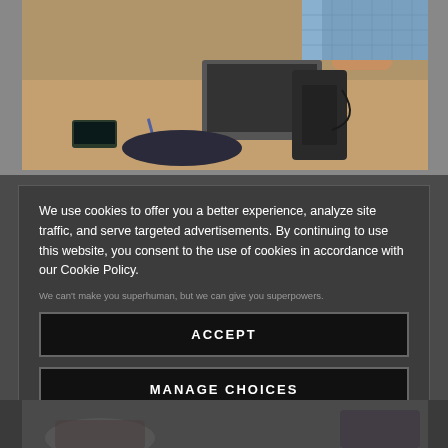[Figure (photo): Person holding a wireless headset above a charging dock on a desk with a laptop, phone, and other office items in the background]
We use cookies to offer you a better experience, analyze site traffic, and serve targeted advertisements. By continuing to use this website, you consent to the use of cookies in accordance with our Cookie Policy.
We can't make you superhuman, but we can give you superpowers.
ACCEPT
MANAGE CHOICES
[Figure (photo): Partial view of a product or office scene at the bottom of the page]